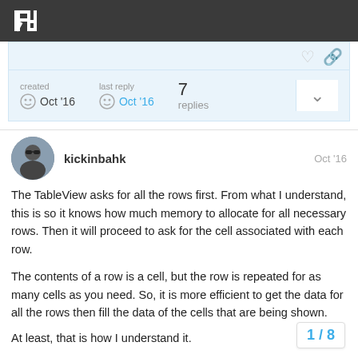Razeware logo header
created Oct '16   last reply Oct '16   7 replies
kickinbahk   Oct '16
The TableView asks for all the rows first. From what I understand, this is so it knows how much memory to allocate for all necessary rows. Then it will proceed to ask for the cell associated with each row.
The contents of a row is a cell, but the row is repeated for as many cells as you need. So, it is more efficient to get the data for all the rows then fill the data of the cells that are being shown.
At least, that is how I understand it.
1 / 8